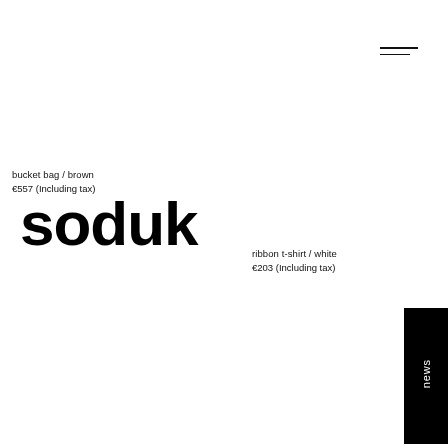[Figure (other): Hamburger menu icon with two horizontal lines in top right corner]
bucket bag / brown
€557 (Including tax)
soduk
ribbon t-shirt / white
€203 (Including tax)
news